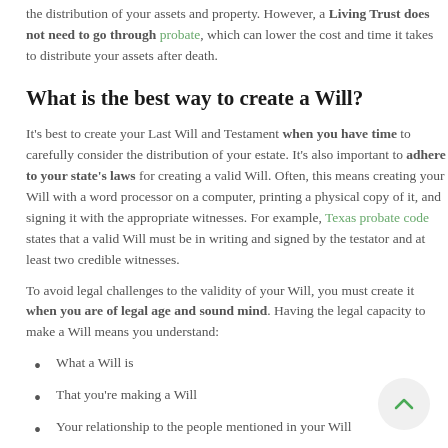the distribution of your assets and property. However, a Living Trust does not need to go through probate, which can lower the cost and time it takes to distribute your assets after death.
What is the best way to create a Will?
It's best to create your Last Will and Testament when you have time to carefully consider the distribution of your estate. It's also important to adhere to your state's laws for creating a valid Will. Often, this means creating your Will with a word processor on a computer, printing a physical copy of it, and signing it with the appropriate witnesses. For example, Texas probate code states that a valid Will must be in writing and signed by the testator and at least two credible witnesses.
To avoid legal challenges to the validity of your Will, you must create it when you are of legal age and sound mind. Having the legal capacity to make a Will means you understand:
What a Will is
That you're making a Will
Your relationship to the people mentioned in your Will